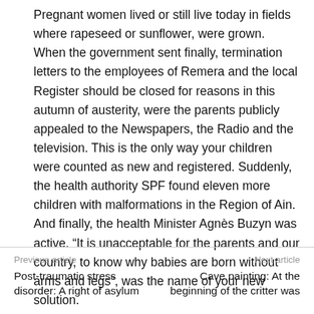Pregnant women lived or still live today in fields where rapeseed or sunflower, were grown. When the government sent finally, termination letters to the employees of Remera and the local Register should be closed for reasons in this autumn of austerity, were the parents publicly appealed to the Newspapers, the Radio and the television. This is the only way your children were counted as new and registered. Suddenly, the health authority SPF found eleven more children with malformations in the Region of Ain. And finally, the health Minister Agnès Buzyn was active. “It is unacceptable for the parents and our country, to know why babies are born without arms and legs”, was the name of your new solution.
Previous article
Next article
Post-traumatic stress disorder: A right of asylum
Cave painting: At the beginning of the critter was